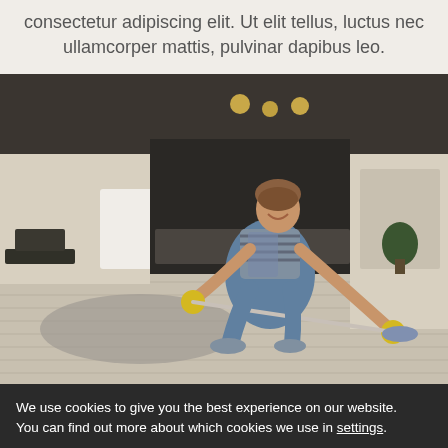consectetur adipiscing elit. Ut elit tellus, luctus nec ullamcorper mattis, pulvinar dapibus leo.
[Figure (photo): A smiling woman wearing yellow rubber gloves and a striped shirt is kneeling on a hardwood floor, scrubbing it with a mop/brush in a modern apartment living room. She appears to be a professional cleaner.]
We use cookies to give you the best experience on our website.
You can find out more about which cookies we use in settings.